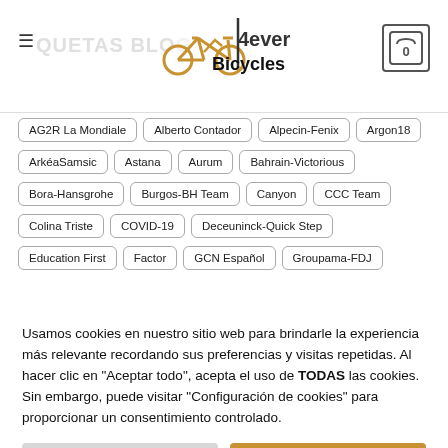4ever Bicycles — ETIQUETAS BLOG
AG2R La Mondiale
Alberto Contador
Alpecin-Fenix
Argon18
ArkéaSamsic
Astana
Aurum
Bahrain-Victorious
Bora-Hansgrohe
Burgos-BH Team
Canyon
CCC Team
Colina Triste
COVID-19
Deceuninck-Quick Step
Education First
Factor
GCN Español
Groupama-FDJ
Usamos cookies en nuestro sitio web para brindarle la experiencia más relevante recordando sus preferencias y visitas repetidas. Al hacer clic en "Aceptar todo", acepta el uso de TODAS las cookies. Sin embargo, puede visitar "Configuración de cookies" para proporcionar un consentimiento controlado.
Configuración de cookies
Aceptar todas